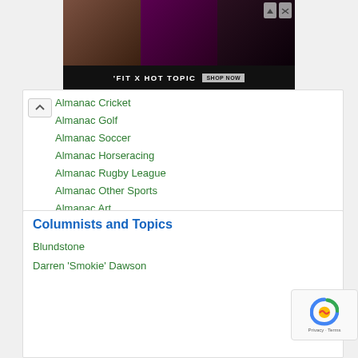[Figure (illustration): Advertisement banner for 'FIT X HOT TOPIC' showing three photos of people in dark clothing, with a 'SHOP NOW' button on a black bar at the bottom]
Almanac Cricket
Almanac Golf
Almanac Soccer
Almanac Horseracing
Almanac Rugby League
Almanac Other Sports
Almanac Art
Almanac Music
Almanac Poetry
Not Just Sport
Everyday Obits
Junior Almanac
Novelty Teams
Columnists and Topics
Blundstone
Darren 'Smokie' Dawson